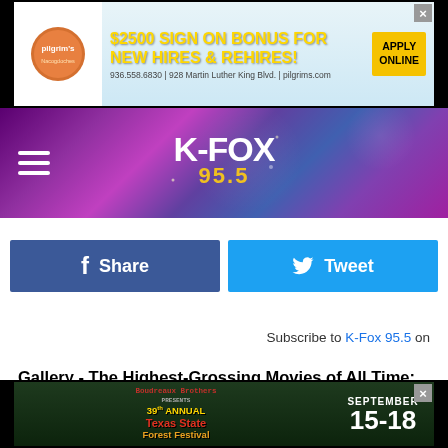[Figure (screenshot): Pilgrim's Nacogdoches banner ad: $2500 Sign On Bonus for New Hires & Rehires! Apply Online. 936.558.6830 | 928 Martin Luther King Blvd. | pilgrims.com]
[Figure (logo): K-FOX 95.5 radio station header with purple/pink geometric background and hamburger menu]
[Figure (infographic): Facebook Share button (dark blue) and Twitter Tweet button (light blue)]
Subscribe to K-Fox 95.5 on
Gallery - The Highest-Grossing Movies of All Time:
[Figure (screenshot): Bottom banner ad: Boudreaux Brothers presents 39th Annual Texas State Forest Festival, September 15-18]